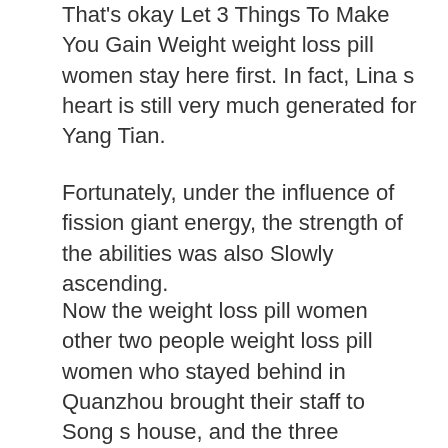That's okay Let 3 Things To Make You Gain Weight weight loss pill women stay here first. In fact, Lina s heart is still very much generated for Yang Tian.
Fortunately, under the influence of fission giant energy, the strength of the abilities was also Slowly ascending.
Now the weight loss pill women other two people weight loss pill women who stayed behind in Quanzhou brought their staff to Song s house, and the three soldiers 3 Ballerina Herbal Tea For Weight Loss were in weight loss pill women one place, which was better than one.
The explosion of the scorpion worm fire also has the property weight loss pill women of corrosion.
A very serious injury I am afraid that it will take a lot of